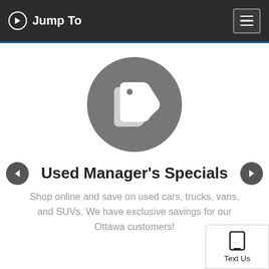Jump To
[Figure (illustration): Dark circular icon with a white price tag / double-tag arrow symbol in the center]
Used Manager's Specials
Shop online and save on used cars, trucks, vans, and SUVs. We have exclusive savings for our Ottawa customers!
[Figure (illustration): Text Us button with mobile phone icon in bottom right corner]